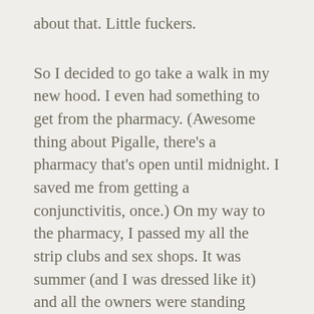about that. Little fuckers.
So I decided to go take a walk in my new hood. I even had something to get from the pharmacy. (Awesome thing about Pigalle, there’s a pharmacy that’s open until midnight. I saved me from getting a conjunctivitis, once.) On my way to the pharmacy, I passed my all the strip clubs and sex shops. It was summer (and I was dressed like it) and all the owners were standing outside trying to lure people in. One guy outside of a strip club apporached me. I don’t remember exactly what he said, but I do